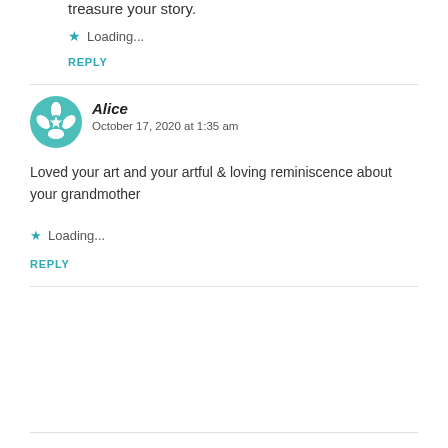treasure your story.
Loading...
REPLY
Alice
October 17, 2020 at 1:35 am
Loved your art and your artful & loving reminiscence about your grandmother
Loading...
REPLY